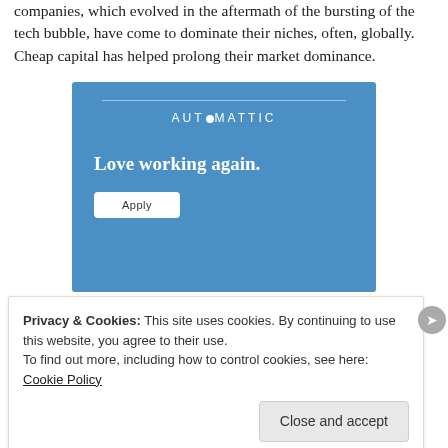companies, which evolved in the aftermath of the bursting of the tech bubble, have come to dominate their niches, often, globally. Cheap capital has helped prolong their market dominance.
[Figure (other): Automattic advertisement with blue background, logo, tagline 'Love working again.' and an Apply button]
Privacy & Cookies: This site uses cookies. By continuing to use this website, you agree to their use.
To find out more, including how to control cookies, see here: Cookie Policy
Close and accept